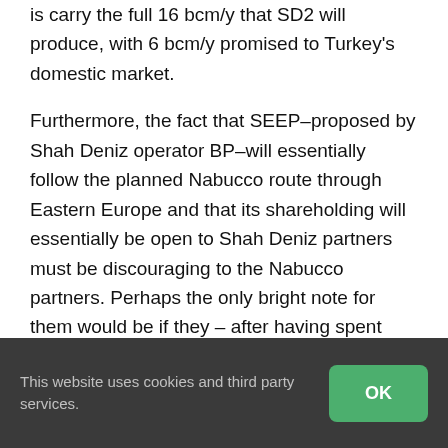is carry the full 16 bcm/y that SD2 will produce, with 6 bcm/y promised to Turkey's domestic market.
Furthermore, the fact that SEEP–proposed by Shah Deniz operator BP–will essentially follow the planned Nabucco route through Eastern Europe and that its shareholding will essentially be open to Shah Deniz partners must be discouraging to the Nabucco partners. Perhaps the only bright note for them would be if they – after having spent millions on developing Nabucco as a project – would be given the option to buy into TANAP and into SEEP,
This website uses cookies and third party services.